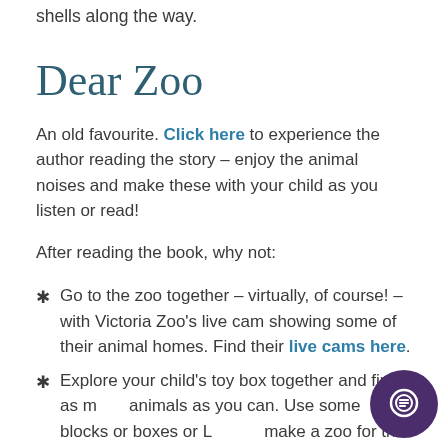shells along the way.
Dear Zoo
An old favourite. Click here to experience the author reading the story – enjoy the animal noises and make these with your child as you listen or read!
After reading the book, why not:
Go to the zoo together – virtually, of course! – with Victoria Zoo's live cam showing some of their animal homes. Find their live cams here.
Explore your child's toy box together and find as many animals as you can. Use some blocks or boxes or Lego to make a zoo for the animals. Sort the animals to see which